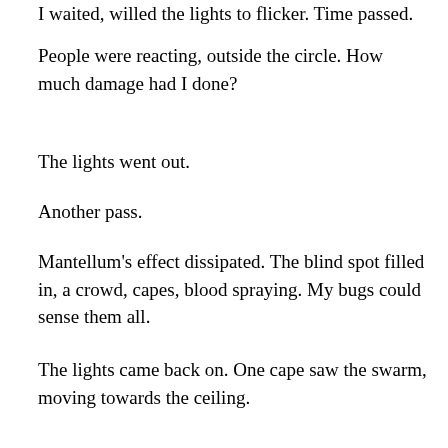I waited, willed the lights to flicker.  Time passed.
People were reacting, outside the circle.  How much damage had I done?
The lights went out.
Another pass.
Mantellum's effect dissipated.  The blind spot filled in, a crowd, capes, blood spraying.  My bugs could sense them all.
The lights came back on.  One cape saw the swarm, moving towards the ceiling.
A chunk of ice the size of a small car hit them.  Ice fragments rained down on the crowd.
Many bugs had died in the collision.